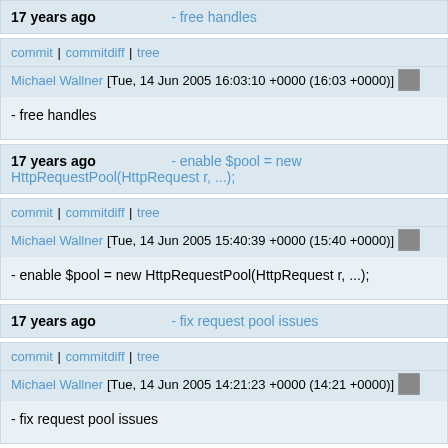17 years ago   - free handles
commit | commitdiff | tree
Michael Wallner [Tue, 14 Jun 2005 16:03:10 +0000 (16:03 +0000)]
- free handles
17 years ago   - enable $pool = new HttpRequestPool(HttpRequest r, ...);
commit | commitdiff | tree
Michael Wallner [Tue, 14 Jun 2005 15:40:39 +0000 (15:40 +0000)]
- enable $pool = new HttpRequestPool(HttpRequest r, ...);
17 years ago   - fix request pool issues
commit | commitdiff | tree
Michael Wallner [Tue, 14 Jun 2005 14:21:23 +0000 (14:21 +0000)]
- fix request pool issues